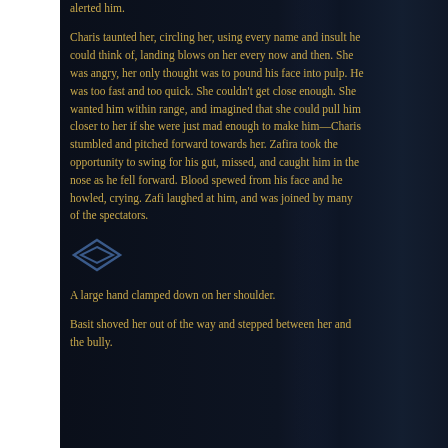alerted him.
Charis taunted her, circling her, using every name and insult he could think of, landing blows on her every now and then. She was angry, her only thought was to pound his face into pulp. He was too fast and too quick. She couldn't get close enough. She wanted him within range, and imagined that she could pull him closer to her if she were just mad enough to make him—Charis stumbled and pitched forward towards her. Zafira took the opportunity to swing for his gut, missed, and caught him in the nose as he fell forward. Blood spewed from his face and he howled, crying. Zafi laughed at him, and was joined by many of the spectators.
[Figure (illustration): Small decorative diamond/chevron logo in blue outline]
A large hand clamped down on her shoulder.
Basit shoved her out of the way and stepped between her and the bully.